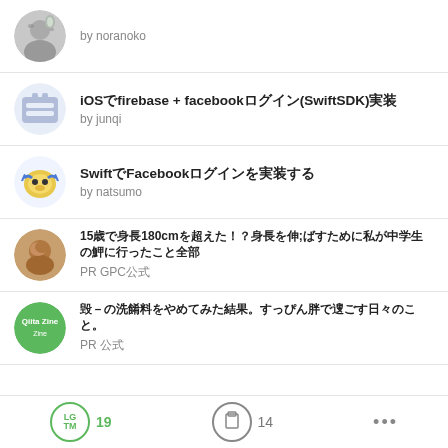by noranoko
iOSでfirebase + facebookログイン(SwiftSDK)実装
by junqi
SwiftでFacebookログインを実装する
by natsumo
15歳で身長180cmを超えた!?身長を伸ばすために私が中学生の頃に行ったこと全部
PR GPC公式
毎日の洗顔料をやめてみた結果。すっぴん肌で過ごす日々のこと。
PR 公式
LGTM 19  14  ...